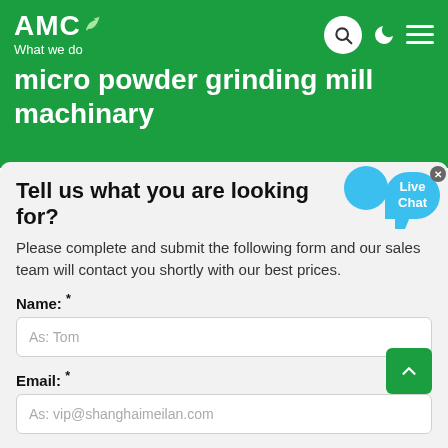AMC – What we do
micro powder grinding mill machinary
Tell us what you are looking for?
Please complete and submit the following form and our sales team will contact you shortly with our best prices.
Name: *
As: Tom
Email: *
As: vip@shanghaimeilan.com
Phone: *
With Country Code